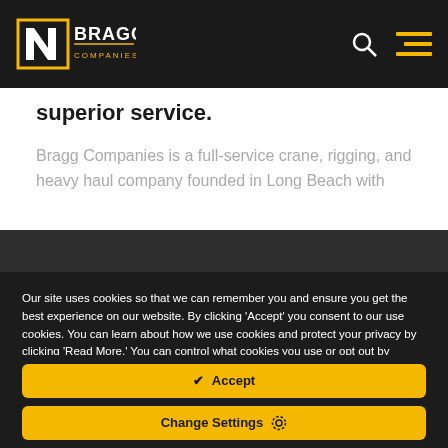[Figure (logo): Bragg Companies logo — white N arrow on black square with yellow border, BRAGG text in white and yellow, COMPANIES subtext]
superior service.
Bragg Companies is a full-service crane, rigging, and heavy haul company founded in Long Beach with
Our site uses cookies so that we can remember you and ensure you get the best experience on our website. By clicking 'Accept' you consent to our use cookies. You can learn about how we use cookies and protect your privacy by clicking 'Read More.' You can control what cookies you use or opt out by clicking 'Change Settings.'
✔ Accept
Change Settings ⚙